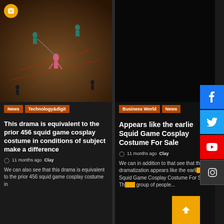[Figure (photo): Squid game cosplay scene viewed from above, figures on sandy ground with geometric lines]
News | Technology&digit
This drama is equivalent to the prior 456 squid game cosplay costume in conditions of subject make a difference
11 months ago  Clay
We can also see that this drama is equivalent to the prior 456 squid game cosplay costume in
[Figure (photo): Dark background image for second article]
Business World | News
Appears like the earlier Squid Game Cosplay Costume For Sale
11 months ago  Clay
We can in addition to that see that this dramatization appears like the earli... Squid Game Cosplay Costume For Sale. Th... group of people...